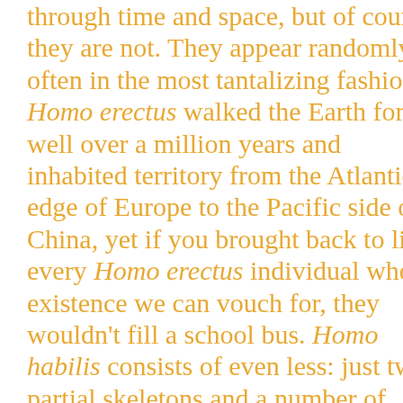through time and space, but of course they are not. They appear randomly, often in the most tantalizing fashion. Homo erectus walked the Earth for well over a million years and inhabited territory from the Atlantic edge of Europe to the Pacific side of China, yet if you brought back to life every Homo erectus individual whose existence we can vouch for, they wouldn't fill a school bus. Homo habilis consists of even less: just two partial skeletons and a number of isolated limb bones. Something as short-lived as our own